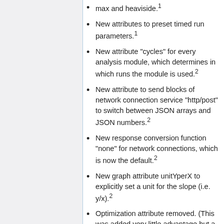max and heaviside.¹
New attributes to preset timed run parameters.¹
New attribute "cycles" for every analysis module, which determines in which runs the module is used.²
New attribute to send blocks of network connection service "http/post" to switch between JSON arrays and JSON numbers.²
New response conversion function "none" for network connections, which is now the default.²
New graph attribute unitYperX to explicitly set a unit for the slope (i.e. y/x).²
Optimization attribute removed. (This was added very little advantage but a lot of confusion.)²
Transfer of experiment configurations